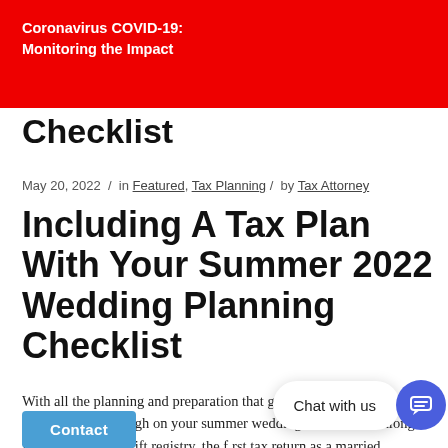Coronavirus COVID-19:
Monitoring the Impact
Including A Tax Plan With Your Summer 2022 Wedding Planning Checklist
May 20, 2022 / in Featured, Tax Planning / by Tax Attorney
With all the planning and preparation that goes into a wedding, taxes may not be high on your summer wedding checklist but along with the cake and gift registry, the first tax return as a married couple should be on your checklist.